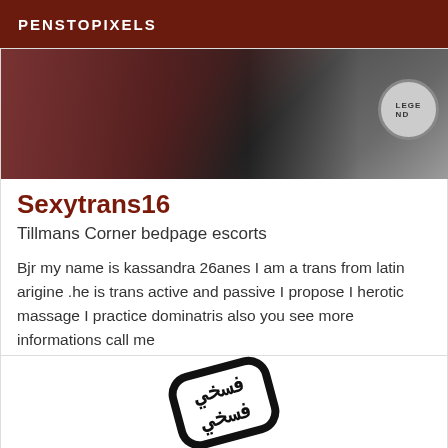PENSTOPIXELS
[Figure (photo): Partial photo showing a person in a dark/maroon background with a 'LEGEND' circular badge visible on the right side]
Sexytrans16
Tillmans Corner bedpage escorts
Bjr my name is kassandra 26anes I am a trans from latin arigine .he is trans active and passive I propose I herotic massage I practice dominatris also you see more informations call me
[Figure (illustration): A black and white rubber stamp graphic with Arabic or stylized text inside a rounded rectangle border, rotated at an angle]